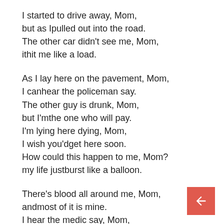I started to drive away, Mom,
but as Ipulled out into the road.
The other car didn't see me, Mom,
ithit me like a load.
As I lay here on the pavement, Mom,
I canhear the policeman say.
The other guy is drunk, Mom,
but I'mthe one who will pay.
I'm lying here dying, Mom,
I wish you'dget here soon.
How could this happen to me, Mom?
my life justburst like a balloon.
There's blood all around me, Mom,
andmost of it is mine.
I hear the medic say, Mom,
that I'll diein a short time.
I just wanted to tell you, Mom,